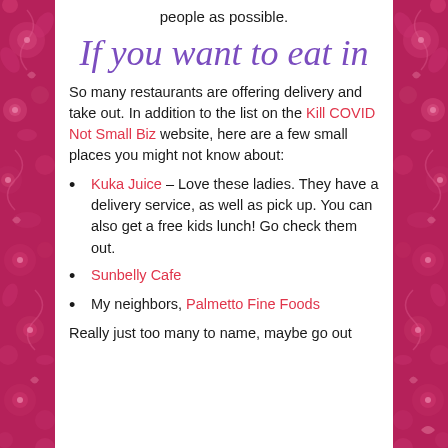people as possible.
If you want to eat in
So many restaurants are offering delivery and take out. In addition to the list on the Kill COVID Not Small Biz website, here are a few small places you might not know about:
Kuka Juice – Love these ladies. They have a delivery service, as well as pick up. You can also get a free kids lunch! Go check them out.
Sunbelly Cafe
My neighbors, Palmetto Fine Foods
Really just too many to name, maybe go out